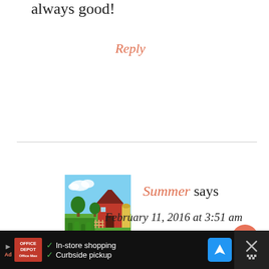always good!
Reply
[Figure (photo): Avatar image of a colorful rural farm scene with a red barn and garden]
Summer says
February 11, 2016 at 3:51 am
This looks very inviting ♥
summerdaisy.net
[Figure (screenshot): WHAT'S NEXT widget showing Old Habits {Recipe: Ov...]
Reply
[Figure (infographic): Ad bar: Office Depot logo, In-store shopping, Curbside pickup, navigation icon, close button]